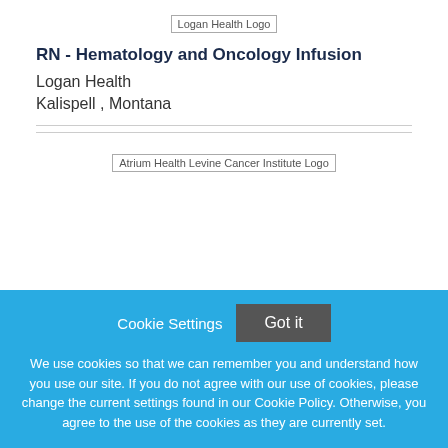[Figure (logo): Logan Health Logo placeholder image]
RN - Hematology and Oncology Infusion
Logan Health
Kalispell , Montana
[Figure (logo): Atrium Health Levine Cancer Institute Logo placeholder image]
Cookie Settings  Got it

We use cookies so that we can remember you and understand how you use our site. If you do not agree with our use of cookies, please change the current settings found in our Cookie Policy. Otherwise, you agree to the use of the cookies as they are currently set.